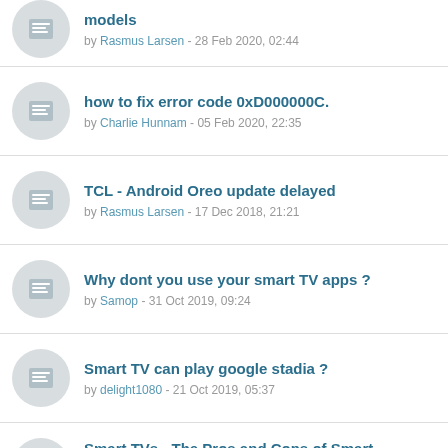models by Rasmus Larsen - 28 Feb 2020, 02:44
how to fix error code 0xD000000C. by Charlie Hunnam - 05 Feb 2020, 22:35
TCL - Android Oreo update delayed by Rasmus Larsen - 17 Dec 2018, 21:21
Why dont you use your smart TV apps ? by Samop - 31 Oct 2019, 09:24
Smart TV can play google stadia ? by delight1080 - 21 Oct 2019, 05:37
Smart TVs - The Pros and Cons of Smart Televisions by Gabar - 27 Aug 2019, 01:34